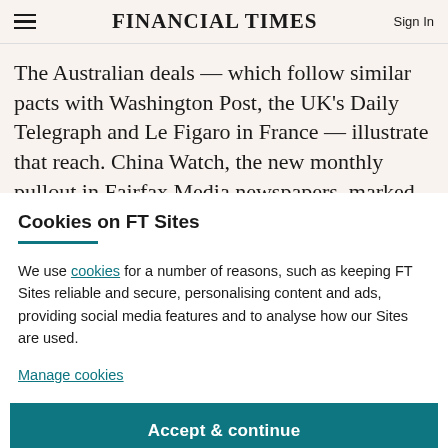FINANCIAL TIMES
The Australian deals — which follow similar pacts with Washington Post, the UK's Daily Telegraph and Le Figaro in France — illustrate that reach. China Watch, the new monthly pullout in Fairfax Media newspapers, marked its
Cookies on FT Sites
We use cookies for a number of reasons, such as keeping FT Sites reliable and secure, personalising content and ads, providing social media features and to analyse how our Sites are used.
Manage cookies
Accept & continue